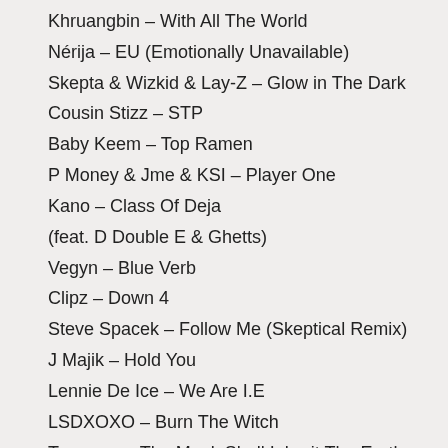Khruangbin – With All The World
Nérija – EU (Emotionally Unavailable)
Skepta & Wizkid & Lay-Z – Glow in The Dark
Cousin Stizz – STP
Baby Keem – Top Ramen
P Money & Jme & KSI – Player One
Kano – Class Of Deja
(feat. D Double E & Ghetts)
Vegyn – Blue Verb
Clipz – Down 4
Steve Spacek – Follow Me (Skeptical Remix)
J Majik – Hold You
Lennie De Ice – We Are I.E
LSDXOXO – Burn The Witch
Tygapaw – The Meek Shall Inherit The Earth
Saathiya – Chalka Chalka Re
Nicki Minaj – Chun-Li (ZutZut edit)